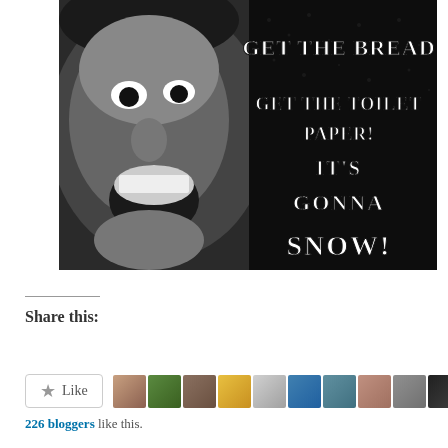[Figure (photo): Black and white meme image of a woman screaming with open mouth. Text overlay reads: GET THE BREAD GET THE TOILET PAPER! IT'S GONNA SNOW!]
Share this:
[Figure (other): Tweet button (blue rounded rectangle with Twitter bird icon and 'Tweet' text)]
[Figure (other): Like button with star icon and row of 10 blogger avatar thumbnails]
226 bloggers like this.